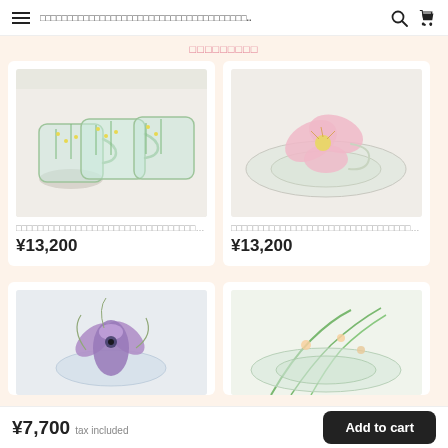≡  □□□□□□□□□□□□□□□□□□□□□□□□□□□□□□□□□□□□□□.  🔍  🛒
□□□□□□□□□
[Figure (photo): Clear glass mugs with green floral pattern, set of 4]
□□□□□□□□□□□□□□□□□□□□□□□□□□□□□□□□□□□□...
¥13,200
[Figure (photo): Pink flower-shaped glass cup with saucer]
□□□□□□□□□□□□□□□□□□□□□□□□□□□□□□□□□□□□...
¥13,200
[Figure (photo): Purple flower glass ornament (partial view)]
[Figure (photo): Green floral glass item (partial view)]
¥7,700 tax included
Add to cart